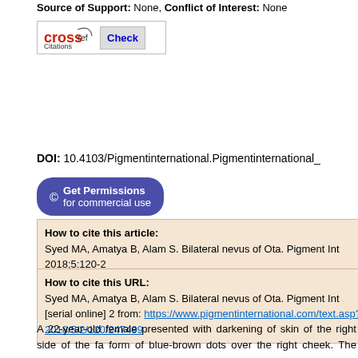Source of Support: None, Conflict of Interest: None
[Figure (logo): CrossRef Check Citations button]
DOI: 10.4103/Pigmentinternational.Pigmentinternational_
© Get Permissions for commercial use
How to cite this article:
Syed MA, Amatya B, Alam S. Bilateral nevus of Ota. Pigment Int 2018;5:120-2
How to cite this URL:
Syed MA, Amatya B, Alam S. Bilateral nevus of Ota. Pigment Int [serial online] 2 from: https://www.pigmentinternational.com/text.asp?2018/5/2/120/247499
A 22-year-old female presented with darkening of skin of the right side of the fa form of blue-brown dots over the right cheek. The darkening has been progressi there were bluish to brown coalescing macules involving the right side of forhea sparing of the periorbital skin [[Figure 1]a]. The superior and inferior sclera discoloration [[Figure 1]b]. On examination of the left side of the face, a few scatt nose and similarly on the malar region [[Figure 2]a]. The sclera of the left eye [[Fi raised the suspicion of the condition being bilateral. On examination of the oral